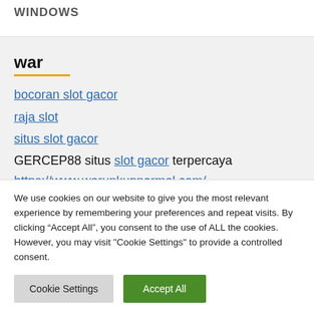WINDOWS
war
bocoran slot gacor
raja slot
situs slot gacor
GERCEP88 situs slot gacor terpercaya
https://www.warunkupnormal.com/
We use cookies on our website to give you the most relevant experience by remembering your preferences and repeat visits. By clicking “Accept All”, you consent to the use of ALL the cookies. However, you may visit "Cookie Settings" to provide a controlled consent.
Cookie Settings | Accept All